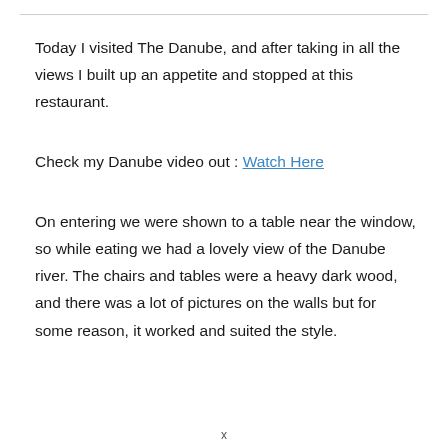Today I visited The Danube, and after taking in all the views I built up an appetite and stopped at this restaurant.
Check my Danube video out : Watch Here
On entering we were shown to a table near the window, so while eating we had a lovely view of the Danube river. The chairs and tables were a heavy dark wood, and there was a lot of pictures on the walls but for some reason, it worked and suited the style.
x